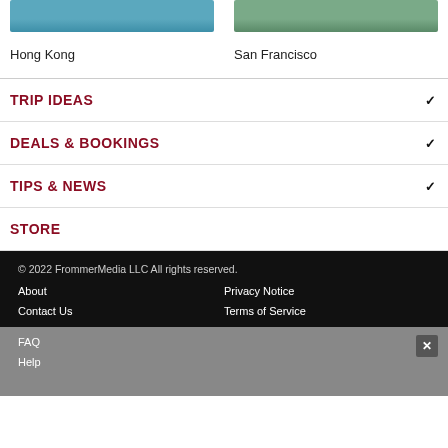[Figure (photo): Hong Kong harbor with a traditional junk boat on teal water]
[Figure (photo): San Francisco park scene with people on green grass]
Hong Kong
San Francisco
TRIP IDEAS
DEALS & BOOKINGS
TIPS & NEWS
STORE
© 2022 FrommerMedia LLC All rights reserved.
About
Privacy Notice
Contact Us
Terms of Service
FAQ
Help